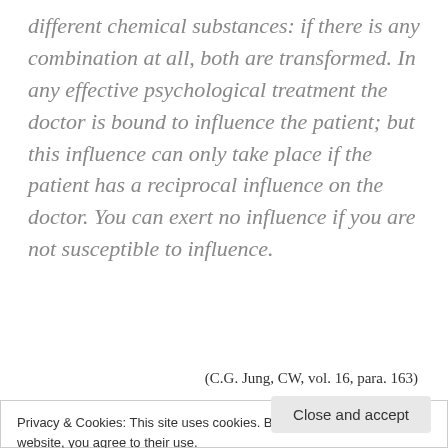different chemical substances: if there is any combination at all, both are transformed. In any effective psychological treatment the doctor is bound to influence the patient; but this influence can only take place if the patient has a reciprocal influence on the doctor. You can exert no influence if you are not susceptible to influence.
(C.G. Jung, CW, vol. 16, para. 163)
Privacy & Cookies: This site uses cookies. By continuing to use this website, you agree to their use.
To find out more, including how to control cookies, see here: Cookie Policy
Close and accept